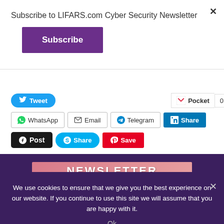Subscribe to LIFARS.com Cyber Security Newsletter
Subscribe
[Figure (screenshot): Social sharing buttons row 1: Tweet (Twitter), Pocket with count 0]
[Figure (screenshot): Social sharing buttons row 2: WhatsApp, Email, Telegram, LinkedIn Share]
[Figure (screenshot): Social sharing buttons row 3: Post (Tumblr), Share (Skype), Save (Pinterest)]
[Figure (screenshot): Purple footer area with newsletter banner showing NEWSLETTER text]
We use cookies to ensure that we give you the best experience on our website. If you continue to use this site we will assume that you are happy with it.
Ok